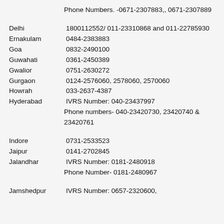Phone Numbers. -0671-2307883,, 0671-2307889
Delhi   1800112552/ 011-23310868 and 011-22785930
Ernakulam   0484-2383883
Goa   0832-2490100
Guwahati   0361-2450389
Gwalior   0751-2630272
Gurgaon   0124-2576060, 2578060, 2570060
Howrah   033-2637-4387
Hyderabad   IVRS Number: 040-23437997
Phone numbers- 040-23420730, 23420740 & 23420761
Indore   0731-2533523
Jaipur   0141-2702845
Jalandhar   IVRS Number: 0181-2480918
Phone Number- 0181-2480967
Jamshedpur   IVRS Number: 0657-2320600,